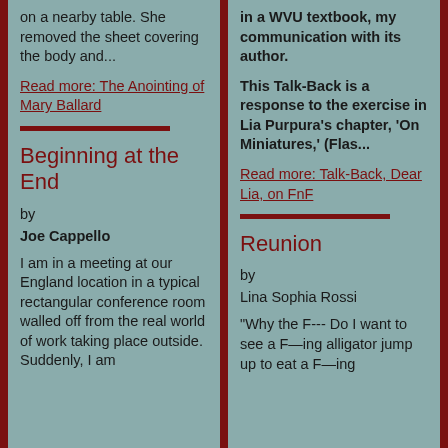on a nearby table. She removed the sheet covering the body and...
Read more: The Anointing of Mary Ballard
Beginning at the End
by
Joe Cappello
I am in a meeting at our England location in a typical rectangular conference room walled off from the real world of work taking place outside. Suddenly, I am
in a WVU textbook, my communication with its author.
This Talk-Back is a response to the exercise in Lia Purpura's chapter, 'On Miniatures,' (Flas...
Read more: Talk-Back, Dear Lia, on FnF
Reunion
by
Lina Sophia Rossi
"Why the F--- Do I want to see a F—ing alligator jump up to eat a F—ing